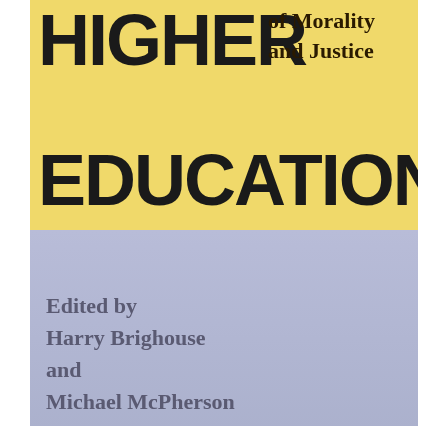[Figure (illustration): Book cover for 'Higher Education and the Challenge of Morality and Justice', edited by Harry Brighouse and Michael McPherson. The cover has a yellow upper half and a blue-lavender lower half. Large bold black text reads 'HIGHER EDUCATION' spanning most of the width. To the right of 'HIGHER' is 'of Morality and Justice' in bold serif. The lower blue section contains the editors' names.]
HIGHER EDUCATION
of Morality and Justice
Edited by Harry Brighouse and Michael McPherson